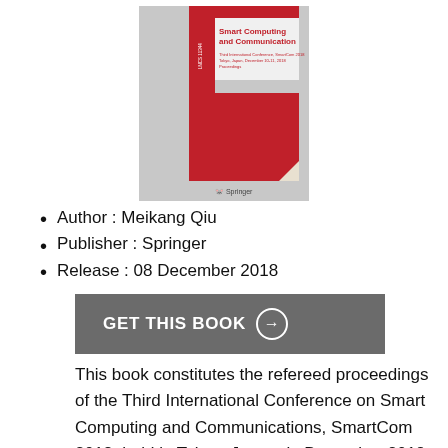[Figure (illustration): Book cover for 'Smart Computing and Communication', Third International Conference, SmartCom 2018, Tokyo, Japan, December 10-11, 2018, Proceedings. LNCS 11344. Published by Springer. Cover shows red and gray design with Springer logo.]
Author : Meikang Qiu
Publisher : Springer
Release : 08 December 2018
GET THIS BOOK →
This book constitutes the refereed proceedings of the Third International Conference on Smart Computing and Communications, SmartCom 2018, held in Tokyo, Japan, in December 2018. The 45 papers presented in this volume were